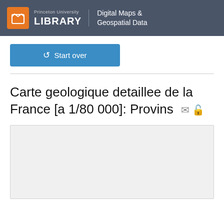Princeton University LIBRARY | Digital Maps & Geospatial Data
↺ Start over
Carte geologique detaillee de la France [a 1/80 000]: Provins
[Figure (other): Light gray preview/thumbnail box for the map item]